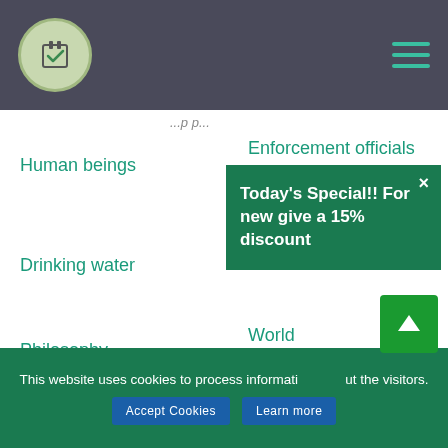Header navigation bar with logo and hamburger menu
...p p...
Human beings
Enforcement officials
Drinking water
[Figure (other): Green popup modal with text: Today's Special!! For new give a 15% discount, with close X button]
Philosophy
World
Social media
Mass media
Culture
South Africa
Fast food
Committing suicide
Father mother
Organizational
This website uses cookies to process information about the visitors.
Accept Cookies   Learn more